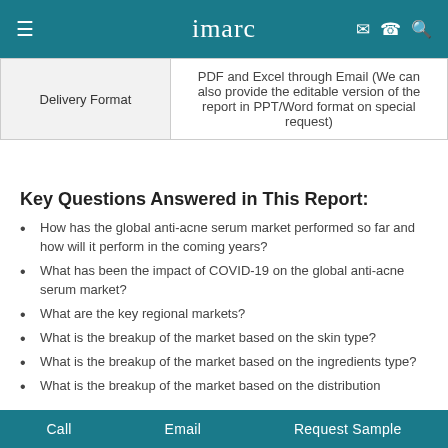imarc
| Delivery Format | PDF and Excel through Email (We can also provide the editable version of the report in PPT/Word format on special request) |
| --- | --- |
Key Questions Answered in This Report:
How has the global anti-acne serum market performed so far and how will it perform in the coming years?
What has been the impact of COVID-19 on the global anti-acne serum market?
What are the key regional markets?
What is the breakup of the market based on the skin type?
What is the breakup of the market based on the ingredients type?
What is the breakup of the market based on the distribution
Call   Email   Request Sample